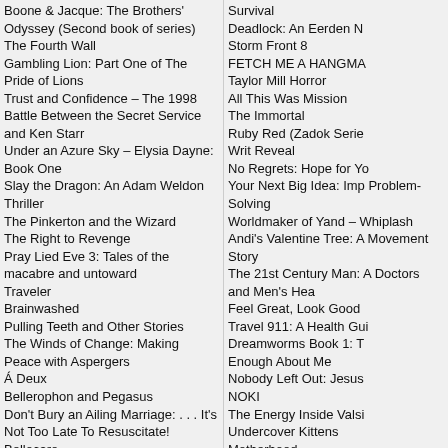Boone & Jacque: The Brothers' Odyssey (Second book of series)
The Fourth Wall
Gambling Lion: Part One of The Pride of Lions
Trust and Confidence – The 1998 Battle Between the Secret Service and Ken Starr
Under an Azure Sky – Elysia Dayne: Book One
Slay the Dragon: An Adam Weldon Thriller
The Pinkerton and the Wizard
The Right to Revenge
Pray Lied Eve 3: Tales of the macabre and untoward
Traveler
Brainwashed
Pulling Teeth and Other Stories
The Winds of Change: Making Peace with Aspergers
Á Deux
Bellerophon and Pegasus
Don't Bury an Ailing Marriage: . . . It's Not Too Late To Resuscitate!
Bellocaro
Black, White, and Gray All Over; a Black Man's Odyssey in Life and Law Enforcement
Authentic Power: Give Yourself Permission to Feel
Unfinished: The Inspired Life of Elisabetta Sirani
SECTOR 10: A Prequel
Survival
Deadlock: An Eerden N
Storm Front 8
FETCH ME A HANGMA
Taylor Mill Horror
All This Was Mission
The Immortal
Ruby Red (Zadok Serie
Writ Reveal
No Regrets: Hope for Yo
Your Next Big Idea: Imp Problem-Solving
Worldmaker of Yand – Whiplash
Andi's Valentine Tree: A Movement Story
The 21st Century Man: A Doctors and Men's Hea
Feel Great, Look Good
Travel 911: A Health Gui
Dreamworms Book 1: T
Enough About Me
Nobody Left Out: Jesus
NOKI
The Energy Inside Valsi
Undercover Kittens
Motherhood
Flowers That Die
The Gift
Powerballs: Be careful w
The King of S